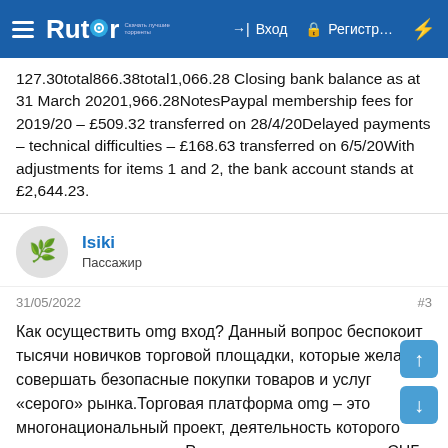Rutor — Вход — Регистр...
127.30total866.38total1,066.28 Closing bank balance as at 31 March 20201,966.28NotesPaypal membership fees for 2019/20 – £509.32 transferred on 28/4/20Delayed payments – technical difficulties – £168.63 transferred on 6/5/20With adjustments for items 1 and 2, the bank account stands at £2,644.23.
Isiki
Пассажир
31/05/2022
#3
Как осуществить omg вход? Данный вопрос беспокоит тысячи новичков торговой площадки, которые желают совершать безопасные покупки товаров и услуг «серого» рынка.Торговая платформа omg – это многонациональный проект, деятельность которого затрагивает не только Россию, но и девять стран СНГ. Благодаря интенсивному росту и активному продвижению, сайту ОМГ удалось в